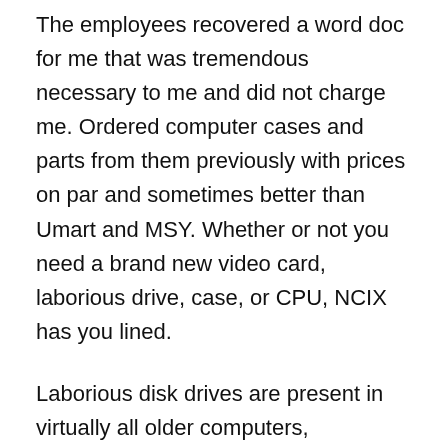The employees recovered a word doc for me that was tremendous necessary to me and did not charge me. Ordered computer cases and parts from them previously with prices on par and sometimes better than Umart and MSY. Whether or not you need a brand new video card, laborious drive, case, or CPU, NCIX has you lined.
Laborious disk drives are present in virtually all older computers, attributable to their excessive capacity and low price, however strong-state drives are faster and more power environment friendly, although currently dearer than laborious drives in terms of greenback per gigabyte, 5 so are sometimes present in private computer systems constructed publish-